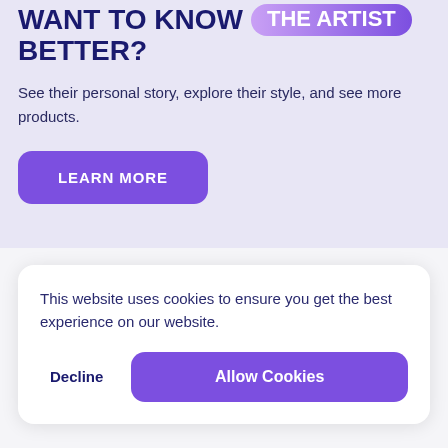WANT TO KNOW THE ARTIST BETTER?
See their personal story, explore their style, and see more products.
LEARN MORE
This website uses cookies to ensure you get the best experience on our website.
Decline
Allow Cookies